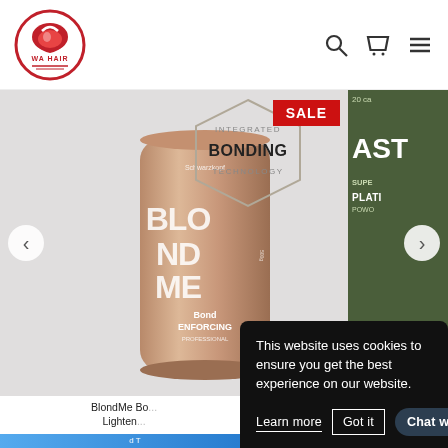[Figure (logo): WA Hair logo - circular red and white logo with hair/hat icon]
[Figure (screenshot): E-commerce product carousel showing BlondMe Bond Enforcing Lightener product can (rose gold) with Integrated Bonding Technology hexagon badge and SALE badge. Partially visible second product on right (olive green packaging with AST text). Left and right carousel navigation arrows visible.]
BlondMe Bond Enforcing Lightener
This website uses cookies to ensure you get the best experience on our website.
Learn more
Got it
Chat with us